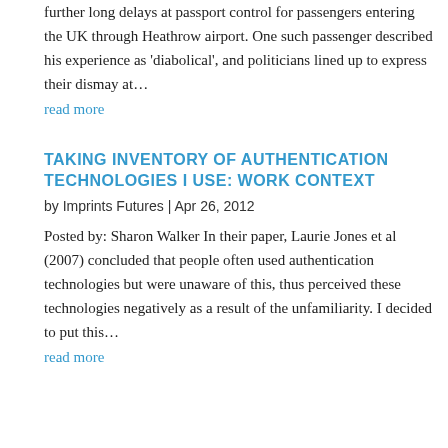further long delays at passport control for passengers entering the UK through Heathrow airport. One such passenger described his experience as 'diabolical', and politicians lined up to express their dismay at…
read more
TAKING INVENTORY OF AUTHENTICATION TECHNOLOGIES I USE: WORK CONTEXT
by Imprints Futures | Apr 26, 2012
Posted by: Sharon Walker In their paper, Laurie Jones et al (2007) concluded that people often used authentication technologies but were unaware of this, thus perceived these technologies negatively as a result of the unfamiliarity. I decided to put this…
read more